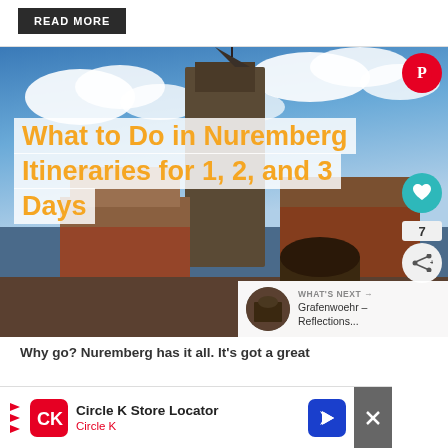[Figure (screenshot): Read More button, dark gray background]
[Figure (photo): Photo of Nuremberg castle tower with blue sky and clouds, with title overlay 'What to Do in Nuremberg Itineraries for 1, 2, and 3 Days' in orange text on white background strips. Pinterest, like, share buttons on the right side. 'What's Next: Grafenwoehr – Reflections...' strip at bottom right.]
What to Do in Nuremberg Itineraries for 1, 2, and 3 Days
Why go? Nuremberg has it all. It's got a great
[Figure (screenshot): Circle K Store Locator advertisement banner with Circle K logo in red, navigation arrow icon, and close button]